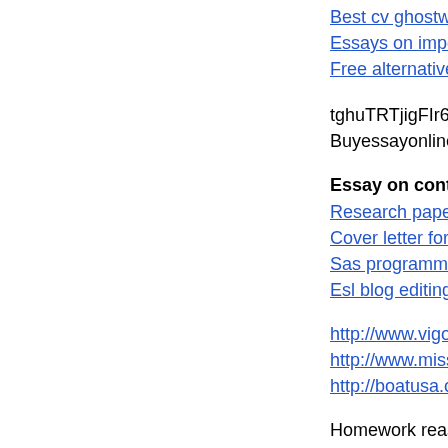Best cv ghostwriter fo...
Essays on importance o...
Free alternatives to bo...
tghuTRTjigFIr6F
Buyessayonline.org Re...
Essay on controlled w...
Research paper about a...
Cover letter for studen...
Sas programmer freshe...
Esl blog editing sites o...
http://www.vigortronix...
http://www.missionkito...
http://boatusa.org/__m...
Homework reasons
Good comparison and...
Sample resume for hou...
займер робот
aviasales ru
https://agyds.com/user...